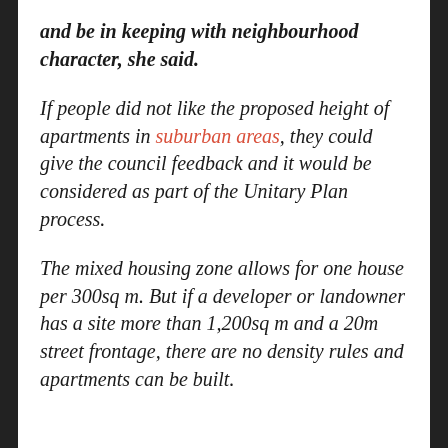and be in keeping with neighbourhood character, she said.
If people did not like the proposed height of apartments in suburban areas, they could give the council feedback and it would be considered as part of the Unitary Plan process.
The mixed housing zone allows for one house per 300sq m. But if a developer or landowner has a site more than 1,200sq m and a 20m street frontage, there are no density rules and apartments can be built.